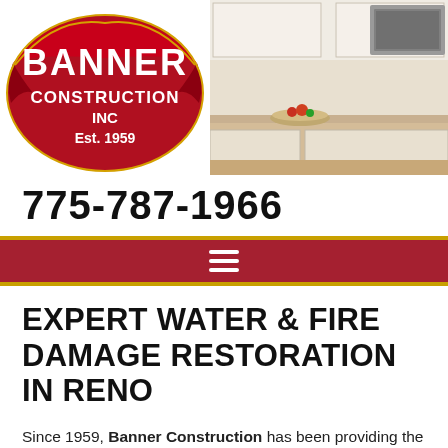[Figure (logo): Banner Construction Inc Est. 1959 logo with red ribbon/banner design]
[Figure (photo): Kitchen interior photo showing white cabinetry, countertops, and appliances]
775-787-1966
[Figure (other): Red navigation bar with hamburger menu icon]
EXPERT WATER & FIRE DAMAGE RESTORATION IN RENO
Since 1959, Banner Construction has been providing the widest range of high quality construction and remodeling services to both business and residential properties. Over this time frame, our contractors have developed the skills to help local residents with the most difficult and extensive projects. As